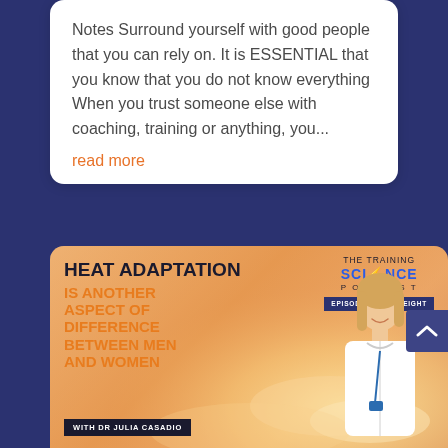Notes Surround yourself with good people that you can rely on. It is ESSENTIAL that you know that you do not know everything When you trust someone else with coaching, training or anything, you...
read more
[Figure (infographic): The Training Science Podcast Episode Twenty Eight card featuring Heat Adaptation topic with Dr Julia Casadio, showing title text and podcast branding on an orange/golden gradient background with a photo of a woman athlete]